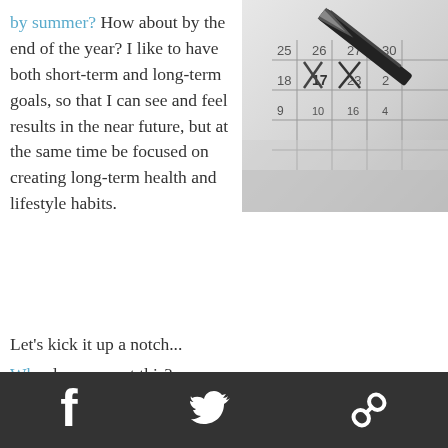by summer? How about by the end of the year? I like to have both short-term and long-term goals, so that I can see and feel results in the near future, but at the same time be focused on creating long-term health and lifestyle habits.
[Figure (photo): Black and white close-up photo of a fountain pen writing on a calendar grid]
Let's kick it up a notch...
Why do you want this?
What will you have once you've achieved it?
Social media icons: Facebook, Twitter, Link